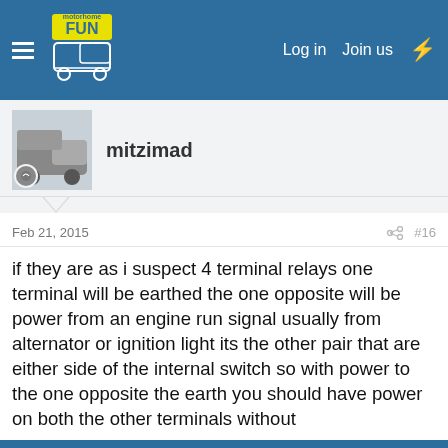motorhome FUN — Log in   Join us
mitzimad
Feb 21, 2015   #16
if they are as i suspect 4 terminal relays one terminal will be earthed the one opposite will be power from an engine run signal usually from alternator or ignition light its the other pair that are either side of the internal switch so with power to the one opposite the earth you should have power on both the other terminals without
This site uses cookies to help personalise content, tailor your experience and to keep you logged in if you register.
By continuing to use this site, you are consenting to our use of cookies.
✓ Accept   Learn more…